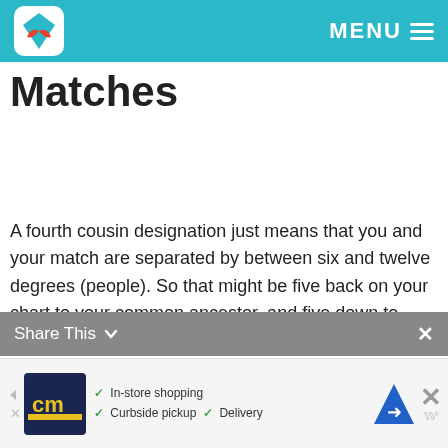MENU
Matches
A fourth cousin designation just means that you and your match are separated by between six and twelve degrees (people). So that might be five back on your chart to your common ancestor, and five down to your match, which would make you true fourth cousins. It could also be some other permutation of that.
Share This ×